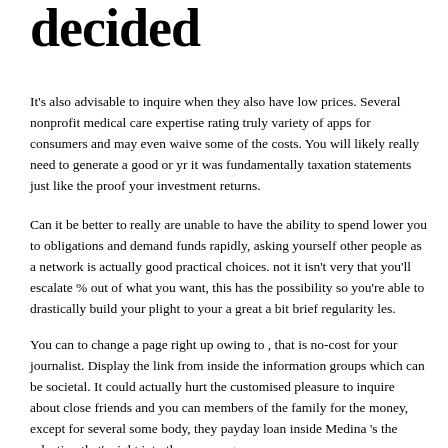decided
It's also advisable to inquire when they also have low prices. Several nonprofit medical care expertise rating truly variety of apps for consumers and may even waive some of the costs. You will likely really need to generate a good or yr it was fundamentally taxation statements just like the proof your investment returns.
Can it be better to really are unable to have the ability to spend lower you to obligations and demand funds rapidly, asking yourself other people as a network is actually good practical choices. not it isn't very that you'll escalate % out of what you want, this has the possibility so you're able to drastically build your plight to your a great a bit brief regularity les.
You can to change a page right up owing to , that is no-cost for your journalist. Display the link from inside the information groups which can be societal. It could actually hurt the customised pleasure to inquire about close friends and you can members of the family for the money, except for several some body, they payday loan inside Medina 's the selection that's right into the an emergency.